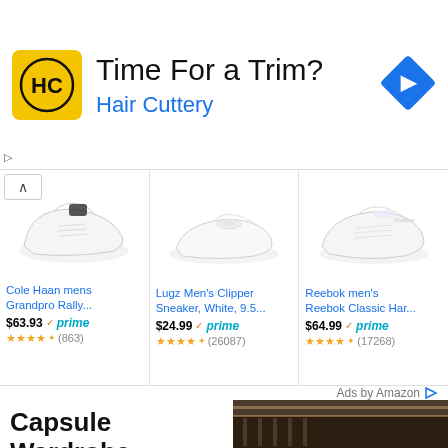[Figure (infographic): Hair Cuttery advertisement banner with yellow logo showing 'HC' text, tagline 'Time For a Trim?' and subtitle 'Hair Cuttery', with a blue diamond navigation icon on the right]
[Figure (photo): White Cole Haan mens Grandpro Rally sneaker on white background]
Cole Haan mens Grandpro Rally...
$63.93 ✓prime ★★★★½ (863)
[Figure (photo): White Lugz Men's Clipper slip-on sneaker on white background]
Lugz Men's Clipper Sneaker, White, 9.5...
$24.99 ✓prime ★★★★½ (26087)
[Figure (photo): White Reebok men's Classic Harman sneaker on white background]
Reebok men's Reebok Classic Har...
$64.99 ✓prime ★★★★½ (17268)
Ads by Amazon
[Figure (photo): Walk-in closet with dark wood shelving and hanging clothes, illuminated]
Capsule Wardrobe For Men (eBook)